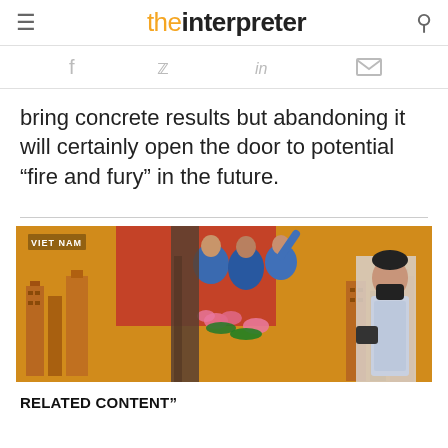the interpreter
[Figure (other): Social sharing icons: Facebook, Twitter, LinkedIn, Email]
bring concrete results but abandoning it will certainly open the door to potential “fire and fury” in the future.
[Figure (photo): A person wearing a face mask stands in front of a colorful Vietnamese propaganda mural featuring stylized buildings and people. A tree trunk is visible in the foreground. Text 'VIET NAM' appears in the top-left corner.]
RELATED CONTENT”